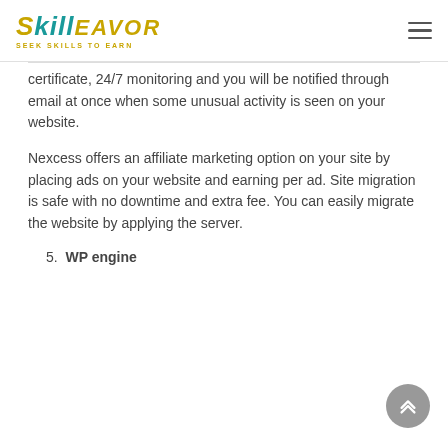Skilleavor — Seek Skills to Earn
certificate, 24/7 monitoring and you will be notified through email at once when some unusual activity is seen on your website.
Nexcess offers an affiliate marketing option on your site by placing ads on your website and earning per ad. Site migration is safe with no downtime and extra fee. You can easily migrate the website by applying the server.
5. WP engine